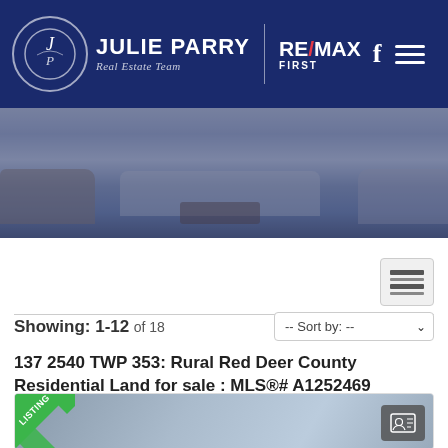[Figure (logo): Julie Parry Real Estate Team logo with RE/MAX First branding and Facebook icon on dark navy header]
[Figure (photo): Living room interior photo with sofas and a coffee table, overlaid with dark blue tint]
Showing: 1-12 of 18
137 2540 TWP 353: Rural Red Deer County Residential Land for sale : MLS®# A1252469
[Figure (photo): Listing card showing exterior photo of house with a green LISTING badge ribbon and a contact button]